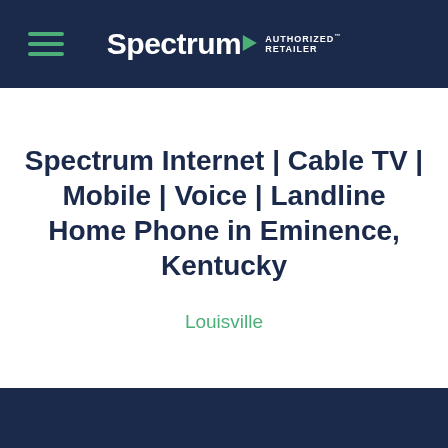Spectrum AUTHORIZED RETAILER
Spectrum Internet | Cable TV | Mobile | Voice | Landline Home Phone in Eminence, Kentucky
Louisville